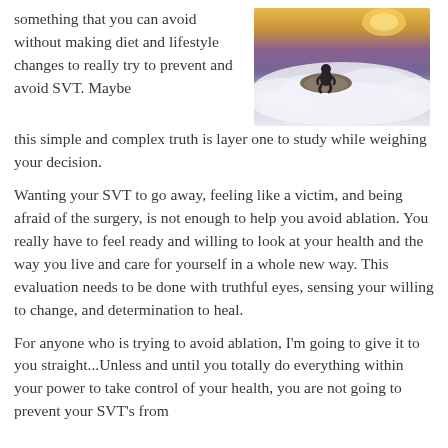something that you can avoid without making diet and lifestyle changes to really try to prevent and avoid SVT. Maybe this simple and complex truth is layer one to study while weighing your decision.
[Figure (photo): A person sitting on a rocky outcrop above clouds at sunset, viewed from behind]
Wanting your SVT to go away, feeling like a victim, and being afraid of the surgery, is not enough to help you avoid ablation. You really have to feel ready and willing to look at your health and the way you live and care for yourself in a whole new way. This evaluation needs to be done with truthful eyes, sensing your willing to change, and determination to heal.
For anyone who is trying to avoid ablation, I'm going to give it to you straight...Unless and until you totally do everything within your power to take control of your health, you are not going to prevent your SVT's from